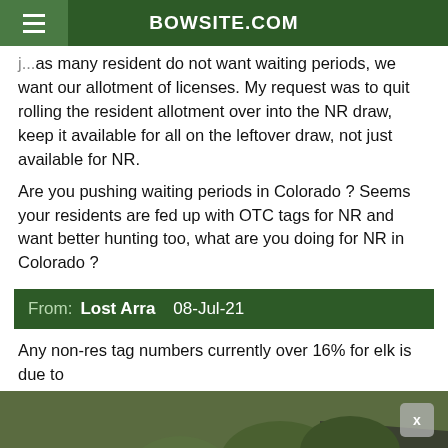BOWSITE.COM
j...as many resident do not want waiting periods, we want our allotment of licenses. My request was to quit rolling the resident allotment over into the NR draw, keep it available for all on the leftover draw, not just available for NR.
Are you pushing waiting periods in Colorado ? Seems your residents are fed up with OTC tags for NR and want better hunting too, what are you doing for NR in Colorado ?
From: Lost Arra 08-Jul-21
Any non-res tag numbers currently over 16% for elk is due to
[Figure (photo): Outdoor advertisement photo showing hunting e-bikes loaded with gear parked near a camouflage tent in a field setting]